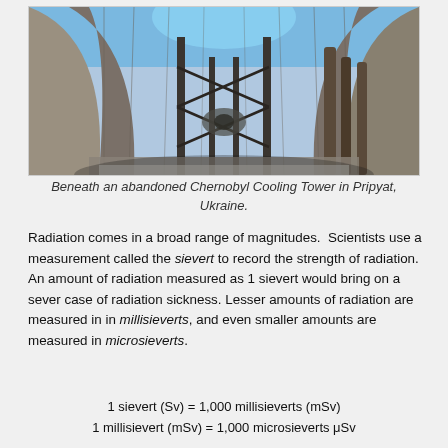[Figure (photo): View from inside an abandoned Chernobyl Cooling Tower in Pripyat, Ukraine, looking up through the circular opening at the sky, with rusted metal structures and graffiti visible on the interior walls.]
Beneath an abandoned Chernobyl Cooling Tower in Pripyat, Ukraine.
Radiation comes in a broad range of magnitudes.  Scientists use a measurement called the sievert to record the strength of radiation. An amount of radiation measured as 1 sievert would bring on a sever case of radiation sickness. Lesser amounts of radiation are measured in in millisieverts, and even smaller amounts are measured in microsieverts.